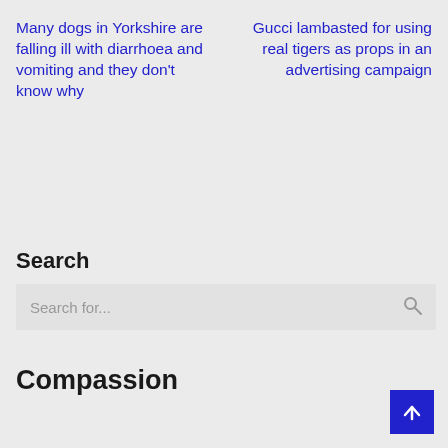Many dogs in Yorkshire are falling ill with diarrhoea and vomiting and they don't know why
Gucci lambasted for using real tigers as props in an advertising campaign
Search
Search for...
Compassion